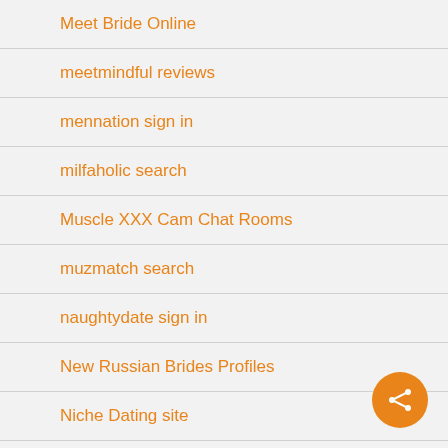Meet Bride Online
meetmindful reviews
mennation sign in
milfaholic search
Muscle XXX Cam Chat Rooms
muzmatch search
naughtydate sign in
New Russian Brides Profiles
Niche Dating site
ohlala reviews
Order Essay Writing
[Figure (other): Orange circular share/connect FAB button in bottom-right corner]